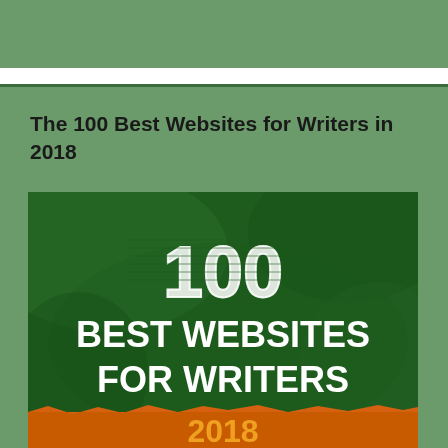The 100 Best Websites for Writers in 2018
[Figure (illustration): Book cover image showing '100 BEST WEBSITES FOR WRITERS 2018' text on a dark green crumpled paper background with orange banner at bottom]